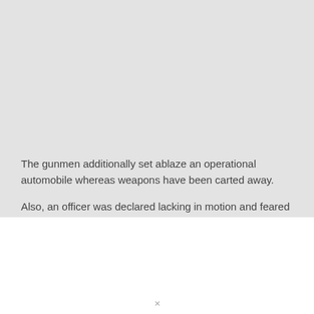The gunmen additionally set ablaze an operational automobile whereas weapons have been carted away.
Also, an officer was declared lacking in motion and feared kidnapped by the terrorists.